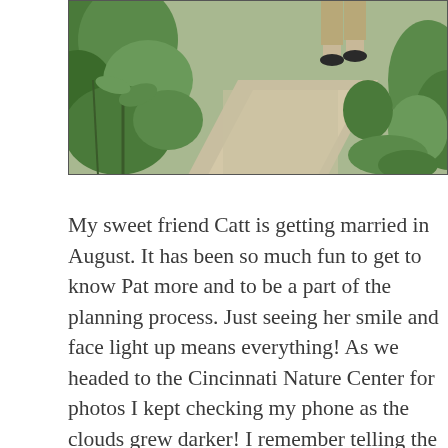[Figure (photo): Outdoor photo showing a garden path with lush green plants and foliage on the left, and a gravel/stone walkway. Partial view of a person's legs and shoes visible at the top right on the path.]
My sweet friend Catt is getting married in August. It has been so much fun to get to know Pat more and to be a part of the planning process. Just seeing her smile and face light up means everything! As we headed to the Cincinnati Nature Center for photos I kept checking my phone as the clouds grew darker! I remember telling the two of them and Zeke that as soon as we arrived we needed to hop out and take photos asap. And yes I can be a little bossy sometimes (for good reason ha) but I was hoping we could get at least a few photos before the rain would make us take a break. We were blessed with no rain and had so much fun